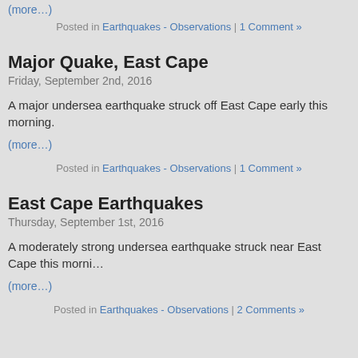(more…)
Posted in Earthquakes - Observations | 1 Comment »
Major Quake, East Cape
Friday, September 2nd, 2016
A major undersea earthquake struck off East Cape early this morning.
(more…)
Posted in Earthquakes - Observations | 1 Comment »
East Cape Earthquakes
Thursday, September 1st, 2016
A moderately strong undersea earthquake struck near East Cape this morning.
(more…)
Posted in Earthquakes - Observations | 2 Comments »